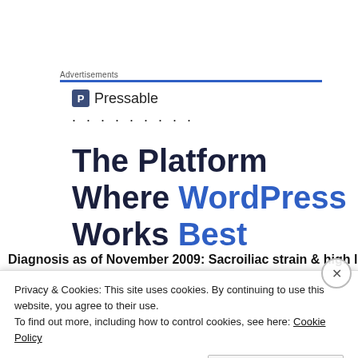Advertisements
[Figure (logo): Pressable logo with blue P icon and dotted line below]
The Platform Where WordPress Works Best
Diagnosis as of November 2009: Sacroiliac strain & high level
Privacy & Cookies: This site uses cookies. By continuing to use this website, you agree to their use. To find out more, including how to control cookies, see here: Cookie Policy
Close and accept